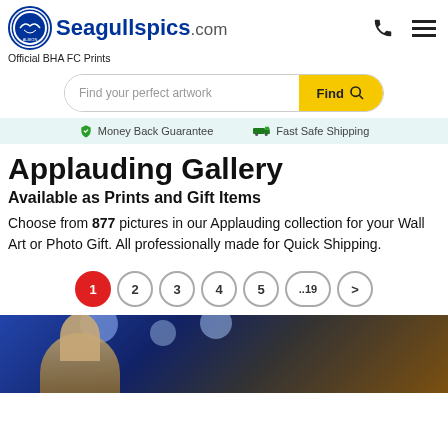Seagullspics.com — Official BHA FC Prints
Find your perfect artwork
Money Back Guarantee   Fast Safe Shipping
Applauding Gallery
Available as Prints and Gift Items
Choose from 877 pictures in our Applauding collection for your Wall Art or Photo Gift. All professionally made for Quick Shipping.
1  2  3  4  5  ..19  >
[Figure (photo): Photograph of a man (football manager) clapping, with blurred stadium lights bokeh in background]